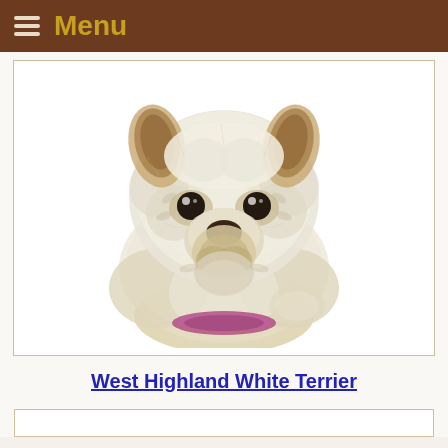Menu
[Figure (illustration): Embroidered or digitally rendered portrait of a West Highland White Terrier (Westie) dog facing forward, white fluffy fur with brown ear tips, black eyes and nose, pink collar visible at bottom, warm beige/white tones]
West Highland White Terrier
[Figure (other): Bottom content box area, partially visible]